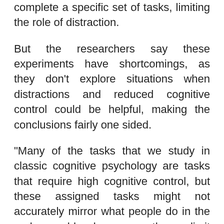complete a specific set of tasks, limiting the role of distraction.
But the researchers say these experiments have shortcomings, as they don't explore situations when distractions and reduced cognitive control could be helpful, making the conclusions fairly one sided.
"Many of the tasks that we study in classic cognitive psychology are tasks that require high cognitive control, but these assigned tasks might not accurately mirror what people do in the real world because they limit distractions," says co-author Lynn Hasher, a professor of psychology at the University of Toronto and the Rotman